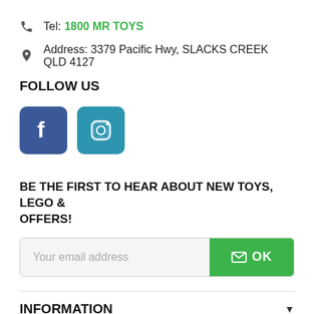Tel: 1800 MR TOYS
Address: 3379 Pacific Hwy, SLACKS CREEK QLD 4127
FOLLOW US
[Figure (logo): Facebook and Instagram social media icon buttons]
BE THE FIRST TO HEAR ABOUT NEW TOYS, LEGO & OFFERS!
Your email address [input field] OK [button]
INFORMATION